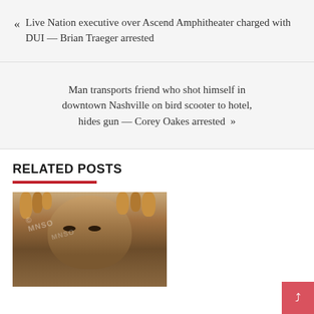« Live Nation executive over Ascend Amphitheater charged with DUI — Brian Traeger arrested
Man transports friend who shot himself in downtown Nashville on bird scooter to hotel, hides gun — Corey Oakes arrested »
RELATED POSTS
[Figure (photo): Mugshot photo of a person with dreadlocks, close-up of face]